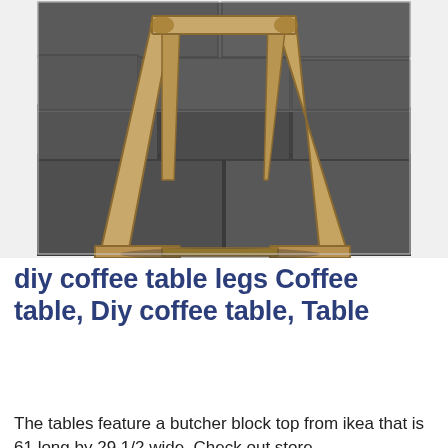[Figure (photo): A wooden A-frame style coffee table leg structure made of light wood, photographed outdoors on dark grey slate stone pavers. The triangular frame is in the center-foreground, with more slate paving stones visible in the background.]
diy coffee table legs Coffee table, Diy coffee table, Table
The tables feature a butcher block top from ikea that is 61 long by 29 1/2 wide. Check out store...